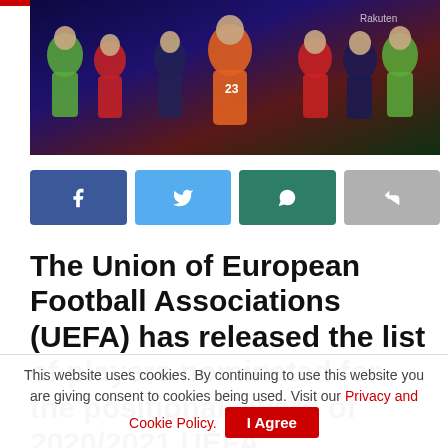[Figure (photo): Group photo of UEFA Champions League football players in various team kits on a dark blue/purple background]
[Figure (infographic): Four social media share buttons: Facebook (blue), Twitter (light blue), WhatsApp (dark teal), Share (grey)]
The Union of European Football Associations (UEFA) has released the list of players nominated for the positional award of 2020/2021 UEFA
This website uses cookies. By continuing to use this website you are giving consent to cookies being used. Visit our Privacy and Cookie Policy.